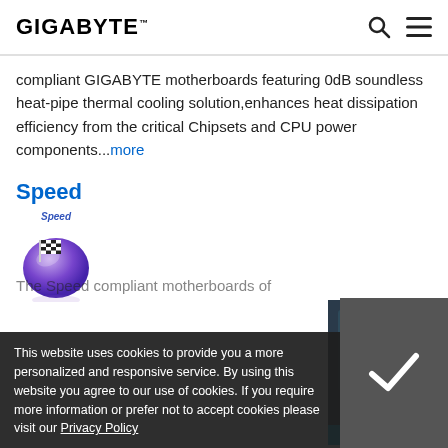GIGABYTE
compliant GIGABYTE motherboards featuring 0dB soundless heat-pipe thermal cooling solution,enhances heat dissipation efficiency from the critical Chipsets and CPU power components...more
Speed
[Figure (illustration): Speed icon: purple globe with checkered racing flag, labeled 'Speed' in italic blue above it]
The Speed compliant motherboards of...
This website uses cookies to provide you a more personalized and responsive service. By using this website you agree to our use of cookies. If you require more information or prefer not to accept cookies please visit our Privacy Policy
[Figure (illustration): 3D Industry panel with hardware/motherboard graphic and '3D INDUSTRY >' label in cyan bar]